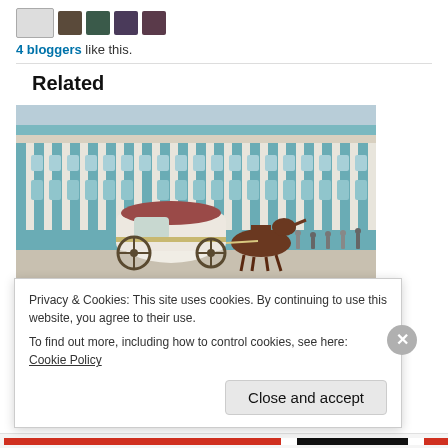4 bloggers like this.
Related
[Figure (photo): Horse-drawn carriage in front of the Hermitage Museum (Winter Palace) in St. Petersburg, Russia. The ornate green and white baroque building fills the background. A white decorated carriage is pulled by a brown horse in the foreground.]
Privacy & Cookies: This site uses cookies. By continuing to use this website, you agree to their use.
To find out more, including how to control cookies, see here: Cookie Policy
Close and accept